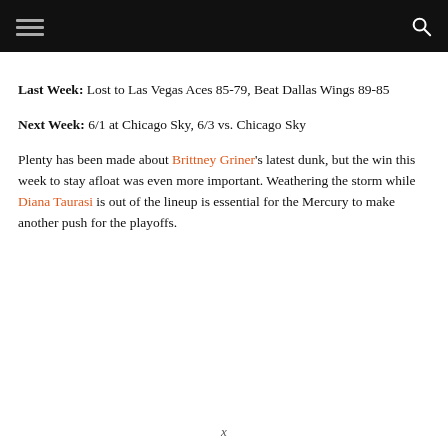[navigation bar with hamburger menu and search icon]
Last Week: Lost to Las Vegas Aces 85-79, Beat Dallas Wings 89-85
Next Week: 6/1 at Chicago Sky, 6/3 vs. Chicago Sky
Plenty has been made about Brittney Griner's latest dunk, but the win this week to stay afloat was even more important. Weathering the storm while Diana Taurasi is out of the lineup is essential for the Mercury to make another push for the playoffs.